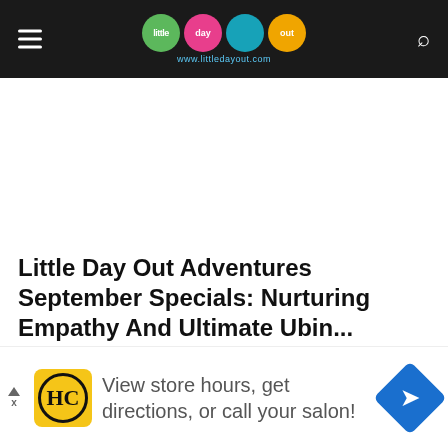little day out — www.littledayout.com
Little Day Out Adventures September Specials: Nurturing Empathy And Ultimate Ubin...
Ee Jia Tan · 18 August 2022
[Figure (screenshot): Advertisement banner with HC logo and text: View store hours, get directions, or call your salon!]